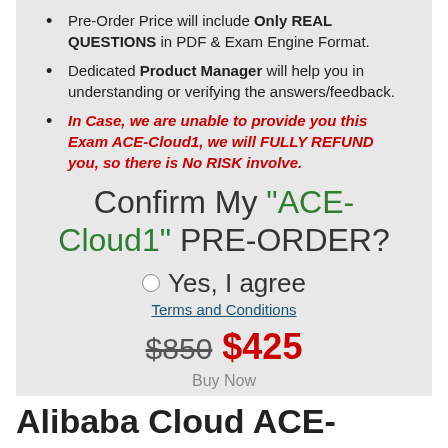Pre-Order Price will include Only REAL QUESTIONS in PDF & Exam Engine Format.
Dedicated Product Manager will help you in understanding or verifying the answers/feedback.
In Case, we are unable to provide you this Exam ACE-Cloud1, we will FULLY REFUND you, so there is No RISK involve.
Confirm My "ACE-Cloud1" PRE-ORDER?
Yes, I agree
Terms and Conditions
$850  $425
Buy Now
Alibaba Cloud ACE-Cloud1